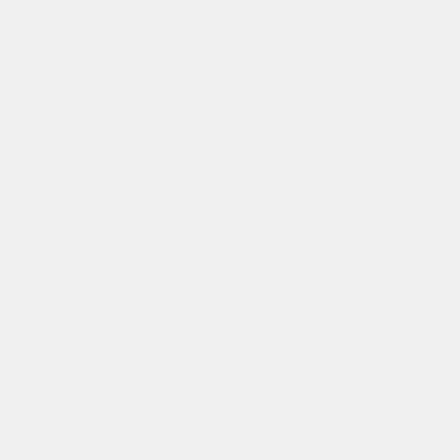even if the slave is not co
Buildslave info can now b
The GNUAutotools factory
Builder configurations can... humans figure out what t
The WebStatus builder pa... of the form ?property.<na
The WebStatus StatusRes
The WebStatus has a new... the WebStatus.
The WebStatus now sho
The Console view now su
The web UI for Builders h
shows the buil
shows sources... generic “multip
The waterfall and atom/rs
The WebStatus Authoriza... read-only access to the B
The web status now has
The WebStatus now inter